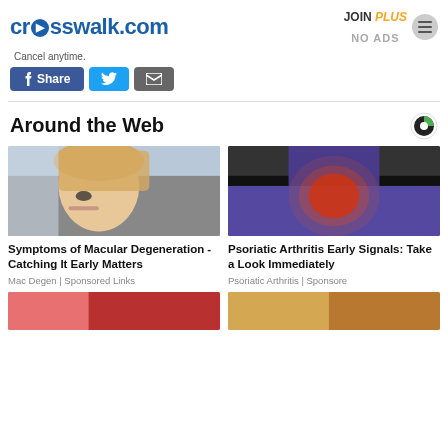crosswalk.com | JOIN PLUS NO ADS
Cancel anytime.
[Figure (screenshot): Share buttons: Facebook Share, Twitter, Email]
Around the Web
[Figure (photo): Woman touching her eye, illustrating macular degeneration symptoms]
Symptoms of Macular Degeneration - Catching It Early Matters
Mac Degen | Sponsored Links
[Figure (photo): Person with hip/joint pain highlighted in red, illustrating psoriatic arthritis]
Psoriatic Arthritis Early Signals: Take a Look Immediately
Psoriatic Arthritis | Sponsore
[Figure (photo): Partially visible image at bottom left]
[Figure (photo): Partially visible image at bottom right]